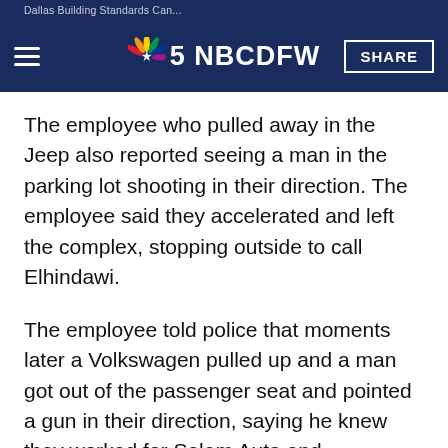Dallas Building Standards Can... NBC 5 NBCDFW ...damage SHARE
The employee who pulled away in the Jeep also reported seeing a man in the parking lot shooting in their direction. The employee said they accelerated and left the complex, stopping outside to call Elhindawi.
The employee told police that moments later a Volkswagen pulled up and a man got out of the passenger seat and pointed a gun in their direction, saying he knew they worked for Salem Auto and demanded the keys. The employee said they begged to remain unharmed and put the keys on the driver's seat.
As the man got into the Jeep, police said the employee managed to use their cell phone to take photos of both the